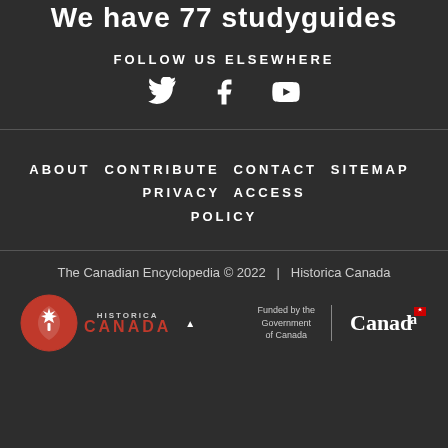We have 77 studyguides
FOLLOW US ELSEWHERE
[Figure (illustration): Social media icons: Twitter bird, Facebook f, YouTube play button]
ABOUT CONTRIBUTE CONTACT SITEMAP PRIVACY ACCESS POLICY
The Canadian Encyclopedia © 2022 | Historica Canada
[Figure (logo): Historica Canada logo with maple leaf in red circle, and a small up arrow]
[Figure (logo): Funded by the Government of Canada | Canada wordmark with flag symbol]